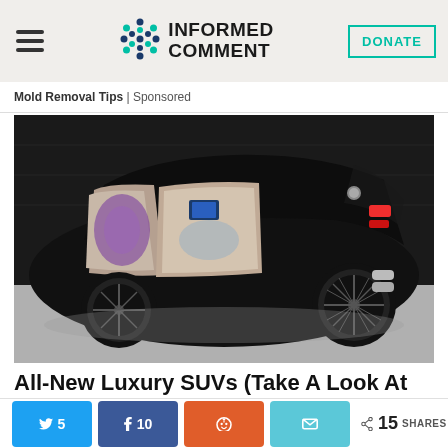INFORMED COMMENT | DONATE
Mold Removal Tips | Sponsored
[Figure (photo): Luxury black SUV (Mercedes-Maybach style) with all doors open showing cream/beige interior with purple ambient lighting, viewed from rear three-quarter angle in a showroom with concrete floor.]
All-New Luxury SUVs (Take A Look At The Prices)
Twitter 5  Facebook 10  Reddit  Email  < 15 SHARES